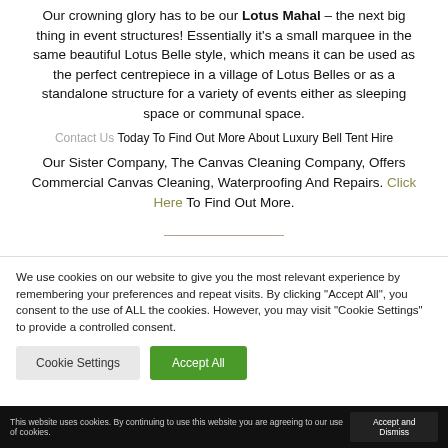Our crowning glory has to be our Lotus Mahal – the next big thing in event structures! Essentially it's a small marquee in the same beautiful Lotus Belle style, which means it can be used as the perfect centrepiece in a village of Lotus Belles or as a standalone structure for a variety of events either as sleeping space or communal space.
Contact Us Today To Find Out More About Luxury Bell Tent Hire
Our Sister Company, The Canvas Cleaning Company, Offers Commercial Canvas Cleaning, Waterproofing And Repairs. Click Here To Find Out More.
We use cookies on our website to give you the most relevant experience by remembering your preferences and repeat visits. By clicking "Accept All", you consent to the use of ALL the cookies. However, you may visit "Cookie Settings" to provide a controlled consent.
This website uses cookies. By continuing to use this website you are agreeing to our use of cookies.